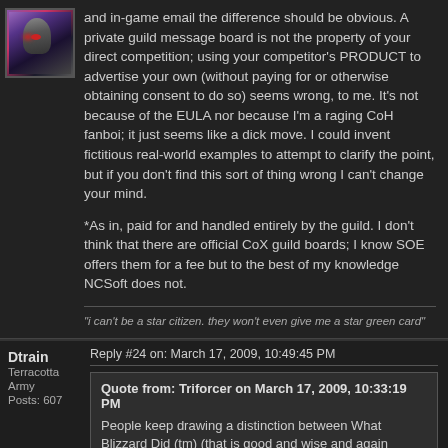and in-game email the difference should be obvious. A private guild message board is not the property of your direct competition; using your competitor's PRODUCT to advertise your own (without paying for or otherwise obtaining consent to do so) seems wrong, to me. It's not because of the EULA nor because I'm a raging CoH fanboi; it just seems like a dick move. I could invent fictitious real-world examples to attempt to clarify the point, but if you don't find this sort of thing wrong I can't change your mind.
*As in, paid for and handled entirely by the guild. I don't think that there are official CoX guild boards; I know SOE offers them for a fee but to the best of my knowledge NCSoft does not.
"i can't be a star citizen. they won't even give me a star green card"
Dtrain
Terracotta Army
Posts: 607
Reply #24 on: March 17, 2009, 10:49:45 PM
Quote from: Triforcer on March 17, 2009, 10:33:19 PM
People keep drawing a distinction between What Blizzard Did (tm) (that is good and wise and again shows Blizzard's genius) and What Cryptic is Doing (Robot Hitler).